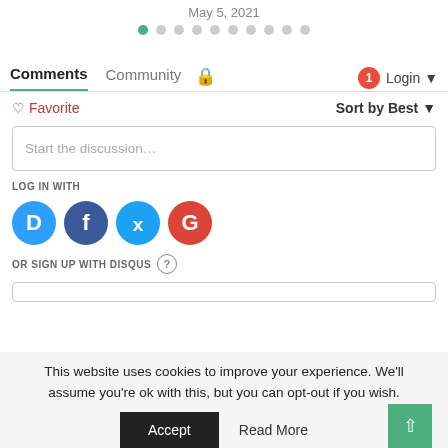May 5, 2021
[Figure (other): Pagination dots row: one green filled dot followed by nine grey empty dots]
Comments  Community  [lock icon]  [1 badge] Login
♡ Favorite   Sort by Best
Start the discussion…
LOG IN WITH
[Figure (logo): Four social login icons: Disqus (blue speech bubble D), Facebook (dark blue F), Twitter (light blue bird), Google (red G)]
OR SIGN UP WITH DISQUS ?
This website uses cookies to improve your experience. We'll assume you're ok with this, but you can opt-out if you wish.
Accept   Read More